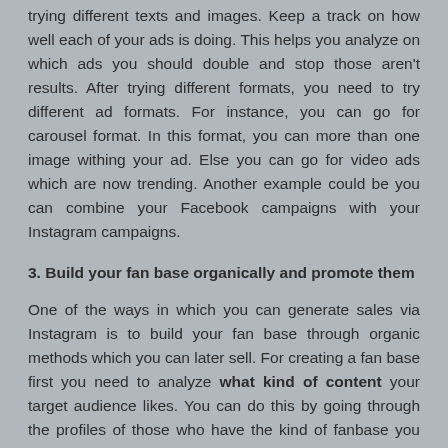trying different texts and images. Keep a track on how well each of your ads is doing. This helps you analyze on which ads you should double and stop those aren't results. After trying different formats, you need to try different ad formats. For instance, you can go for carousel format. In this format, you can more than one image withing your ad. Else you can go for video ads which are now trending. Another example could be you can combine your Facebook campaigns with your Instagram campaigns.
3. Build your fan base organically and promote them
One of the ways in which you can generate sales via Instagram is to build your fan base through organic methods which you can later sell. For creating a fan base first you need to analyze what kind of content your target audience likes. You can do this by going through the profiles of those who have the kind of fanbase you would like to build. Search for relevant keywords within Instagram to know what is working the most. There will be a number of profiles from where you can get inspiration. Analyze their images, content style and the types of descriptions that they use. Also, pay